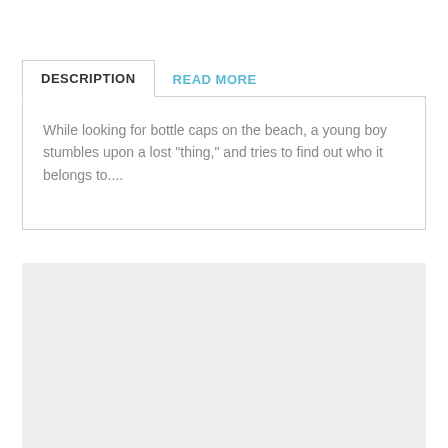DESCRIPTION
READ MORE
While looking for bottle caps on the beach, a young boy stumbles upon a lost "thing," and tries to find out who it belongs to....
[Figure (other): Gray placeholder box at the bottom of the page]